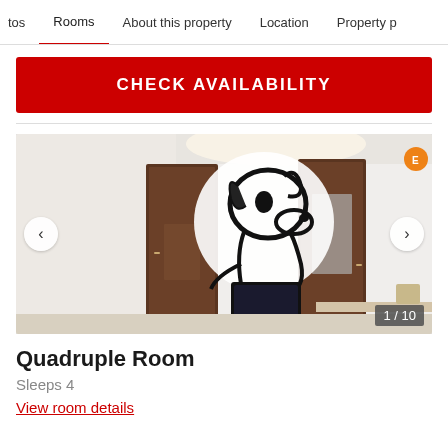tos  Rooms  About this property  Location  Property p
CHECK AVAILABILITY
[Figure (photo): Hotel room interior with Snoopy wall art mural, dark wooden doors, a mounted flat-screen TV below the mural, white walls with warm lighting. Room appears clean and modern.]
Quadruple Room
Sleeps 4
View room details